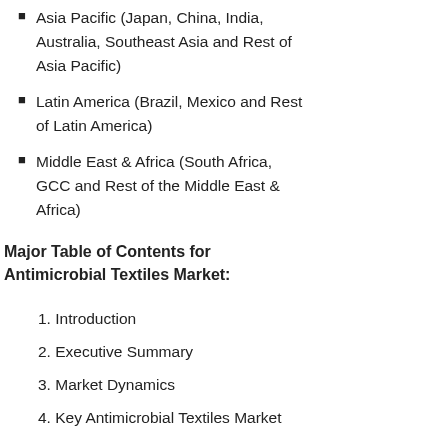Asia Pacific (Japan, China, India, Australia, Southeast Asia and Rest of Asia Pacific)
Latin America (Brazil, Mexico and Rest of Latin America)
Middle East & Africa (South Africa, GCC and Rest of the Middle East & Africa)
Major Table of Contents for Antimicrobial Textiles Market:
1. Introduction
2. Executive Summary
3. Market Dynamics
4. Key Antimicrobial Textiles Market